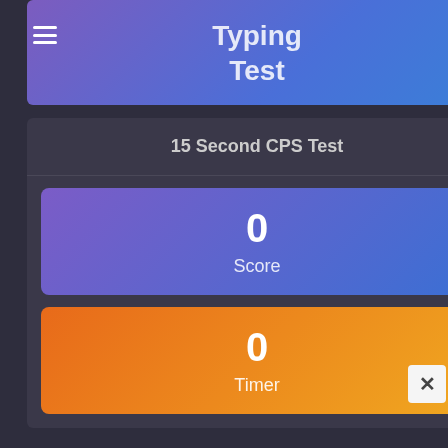G+ LOGIN WITH GOOGLE+
Typing Test
15 Second CPS Test
0
Score
0
Timer